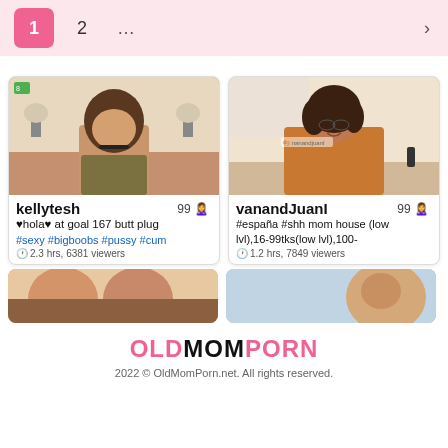Pagination: 1 (active), 2, ..., >
[Figure (screenshot): Webcam thumbnail of kellytesh - woman with long dark hair in a bedroom]
kellytesh 99 🙎‍♀️
♥hola♥ at goal 167 butt plug #sexy #bigboobs #pussy #cum
2.3 hrs, 6381 viewers
[Figure (screenshot): Webcam thumbnail of vanandJuanI - smiling woman in orange top]
vanandJuanI 99 🙎‍♀️
#españa #shh mom house (low lvl),16-99tks(low lvl),100-
1.2 hrs, 7849 viewers
[Figure (screenshot): Partial webcam thumbnail - skin tones visible, partially cut off]
[Figure (screenshot): Partial webcam thumbnail - woman partially visible, cut off]
OLDMOMPORN
2022 © OldMomPorn.net. All rights reserved.